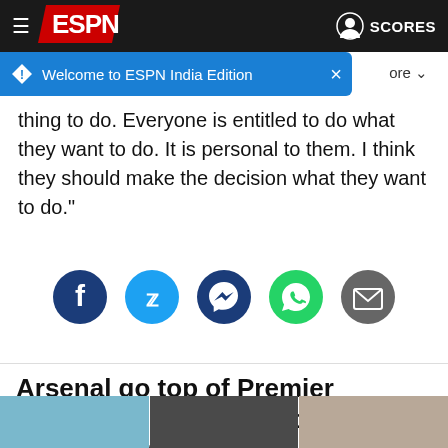ESPN - Welcome to ESPN India Edition
thing to do. Everyone is entitled to do what they want to do. It is personal to them. I think they should make the decision what they want to do."
[Figure (infographic): Social sharing icons: Facebook, Twitter, Messenger, WhatsApp, Email]
Arsenal go top of Premier League as Arteta's revolution continues with win at Bournemouth
[Figure (photo): Three photos of people, partially visible at bottom of screen]